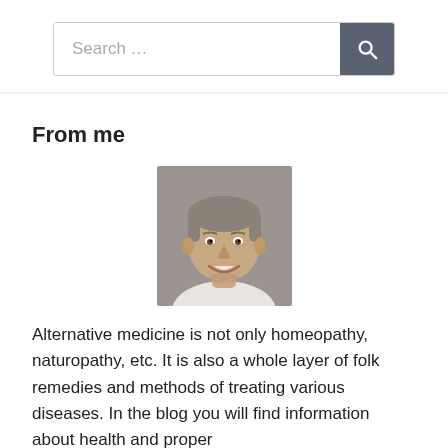Search …
From me
[Figure (photo): Portrait photo of a middle-aged man with short gray hair, smiling, wearing a light-colored shirt, neutral background.]
Alternative medicine is not only homeopathy, naturopathy, etc. It is also a whole layer of folk remedies and methods of treating various diseases. In the blog you will find information about health and proper